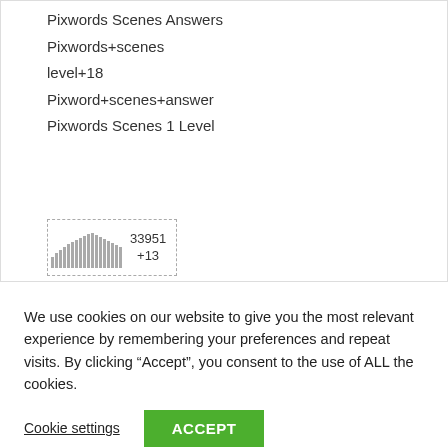Pixwords Scenes Answers
Pixwords+scenes
level+18
Pixword+scenes+answer
Pixwords Scenes 1 Level
[Figure (bar-chart): Small bar chart thumbnail with values 33951 +13]
We use cookies on our website to give you the most relevant experience by remembering your preferences and repeat visits. By clicking “Accept”, you consent to the use of ALL the cookies.
Cookie settings   ACCEPT